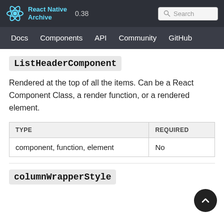React Native Archive 0.38 Search
Docs Components API Community GitHub
ListHeaderComponent
Rendered at the top of all the items. Can be a React Component Class, a render function, or a rendered element.
| TYPE | REQUIRED |
| --- | --- |
| component, function, element | No |
columnWrapperStyle